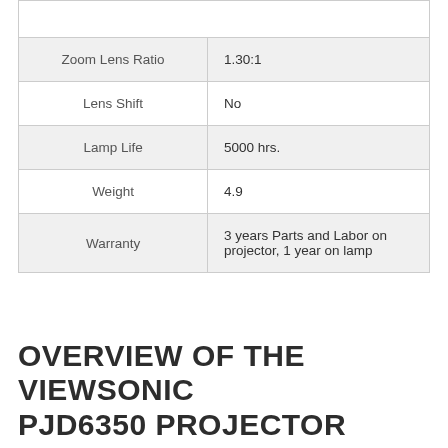|  |  |
| --- | --- |
| Zoom Lens Ratio | 1.30:1 |
| Lens Shift | No |
| Lamp Life | 5000 hrs. |
| Weight | 4.9 |
| Warranty | 3 years Parts and Labor on projector, 1 year on lamp |
OVERVIEW OF THE VIEWSONIC PJD6350 PROJECTOR